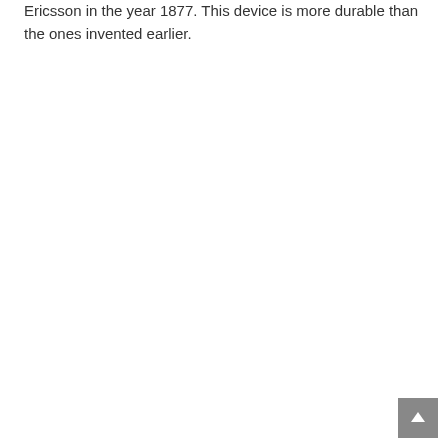Ericsson in the year 1877. This device is more durable than the ones invented earlier.